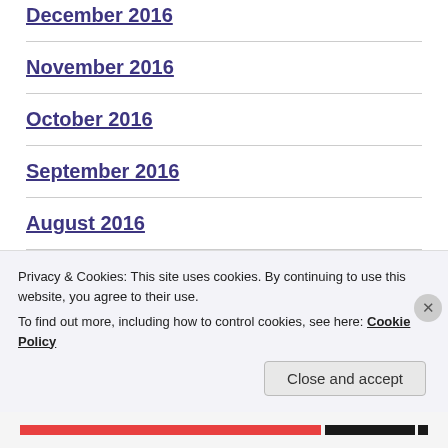December 2016
November 2016
October 2016
September 2016
August 2016
July 2016
June 2016
Privacy & Cookies: This site uses cookies. By continuing to use this website, you agree to their use.
To find out more, including how to control cookies, see here: Cookie Policy
Close and accept